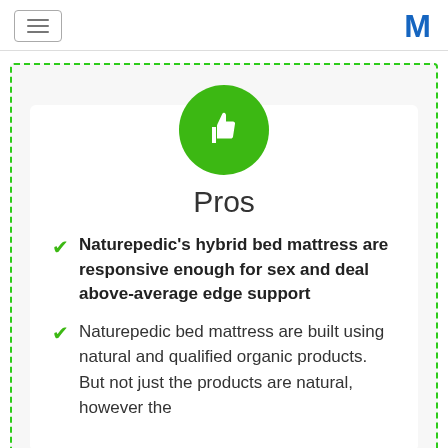≡  M
[Figure (illustration): Green circle with white thumbs-up icon]
Pros
Naturepedic's hybrid bed mattress are responsive enough for sex and deal above-average edge support
Naturepedic bed mattress are built using natural and qualified organic products. But not just the products are natural, however the